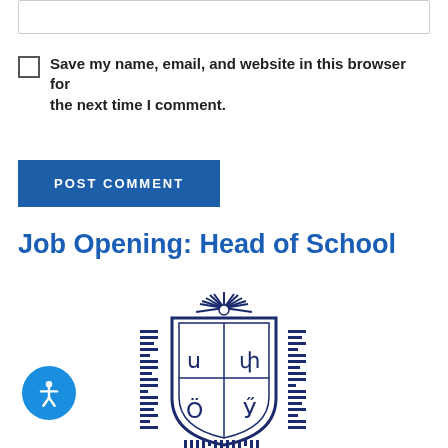[text input field]
Save my name, email, and website in this browser for the next time I comment.
POST COMMENT
Job Opening: Head of School
[Figure (logo): School crest/seal with Armenian letters and radiating sun design, dark navy blue on white]